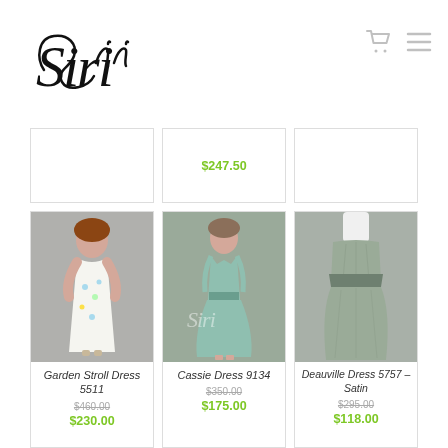[Figure (logo): Seri brand logo in cursive script]
$247.50
[Figure (photo): Woman wearing Garden Stroll Dress 5511 - white dress with floral print]
Garden Stroll Dress 5511
$460.00
$230.00
[Figure (photo): Woman wearing Cassie Dress 9134 - mint green v-neck dress]
Cassie Dress 9134
$350.00
$175.00
[Figure (photo): Deauville Dress 5757 – Satin on mannequin, silver/sage strapless dress]
Deauville Dress 5757 – Satin
$295.00
$118.00